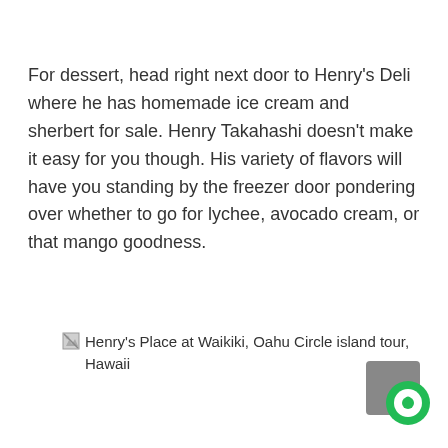For dessert, head right next door to Henry's Deli where he has homemade ice cream and sherbert for sale. Henry Takahashi doesn't make it easy for you though. His variety of flavors will have you standing by the freezer door pondering over whether to go for lychee, avocado cream, or that mango goodness.
[Figure (photo): Broken image placeholder showing alt text: Henry's Place at Waikiki, Oahu Circle island tour, Hawaii]